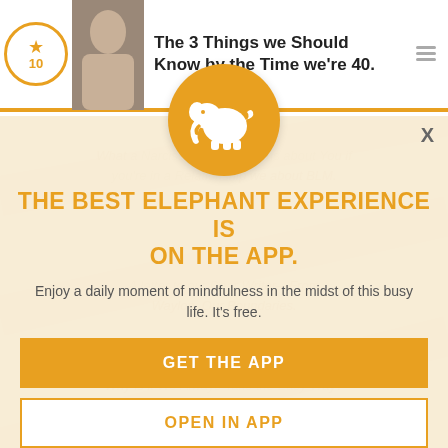The 3 Things we Should Know by the Time we're 40.
[Figure (logo): Elephant Journal app logo — white elephant silhouette on orange circle]
THE BEST ELEPHANT EXPERIENCE IS ON THE APP.
Enjoy a daily moment of mindfulness in the midst of this busy life. It's free.
GET THE APP
OPEN IN APP